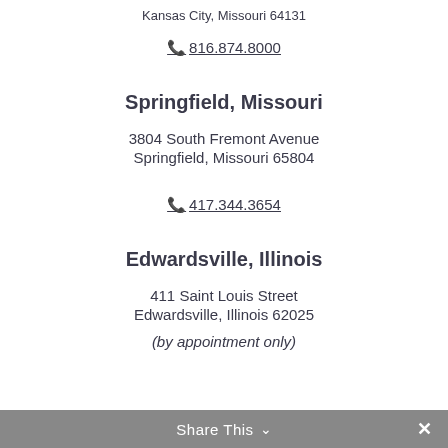Kansas City, Missouri 64131
📞 816.874.8000
Springfield, Missouri
3804 South Fremont Avenue
Springfield, Missouri 65804
📞 417.344.3654
Edwardsville, Illinois
411 Saint Louis Street
Edwardsville, Illinois 62025
(by appointment only)
Share This ✓ ✕